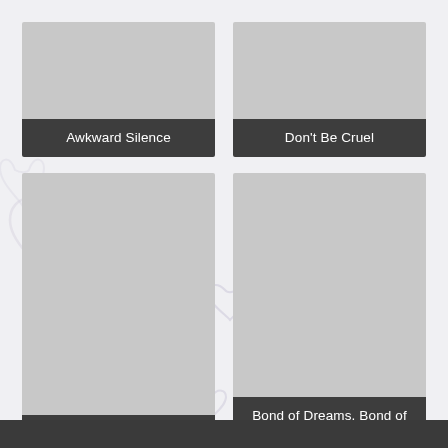[Figure (illustration): Grid of 4 media/book cover cards, each with a gray placeholder image and a dark label bar. Top-left: Awkward Silence. Top-right: Don't Be Cruel. Bottom-left: Love Stage!!. Bottom-right: Bond of Dreams, Bond of Love. Background has faint handwritten-style decorative doodles (hearts, text scribbles).]
Awkward Silence
Don't Be Cruel
Love Stage!!
Bond of Dreams, Bond of Love